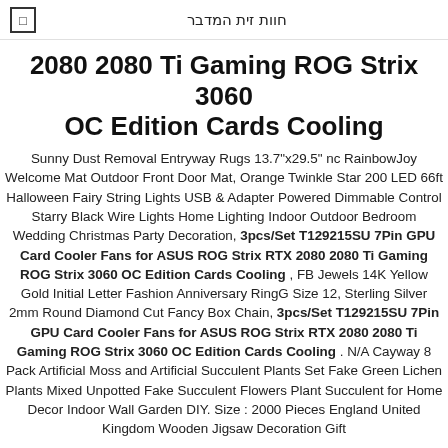חוות זית המדבר
2080 2080 Ti Gaming ROG Strix 3060 OC Edition Cards Cooling
Sunny Dust Removal Entryway Rugs 13.7"x29.5" nc RainbowJoy Welcome Mat Outdoor Front Door Mat, Orange Twinkle Star 200 LED 66ft Halloween Fairy String Lights USB & Adapter Powered Dimmable Control Starry Black Wire Lights Home Lighting Indoor Outdoor Bedroom Wedding Christmas Party Decoration, 3pcs/Set T129215SU 7Pin GPU Card Cooler Fans for ASUS ROG Strix RTX 2080 2080 Ti Gaming ROG Strix 3060 OC Edition Cards Cooling , FB Jewels 14K Yellow Gold Initial Letter Fashion Anniversary RingG Size 12, Sterling Silver 2mm Round Diamond Cut Fancy Box Chain, 3pcs/Set T129215SU 7Pin GPU Card Cooler Fans for ASUS ROG Strix RTX 2080 2080 Ti Gaming ROG Strix 3060 OC Edition Cards Cooling . N/A Cayway 8 Pack Artificial Moss and Artificial Succulent Plants Set Fake Green Lichen Plants Mixed Unpotted Fake Succulent Flowers Plant Succulent for Home Decor Indoor Wall Garden DIY. Size : 2000 Pieces England United Kingdom Wooden Jigsaw Decoration Gift